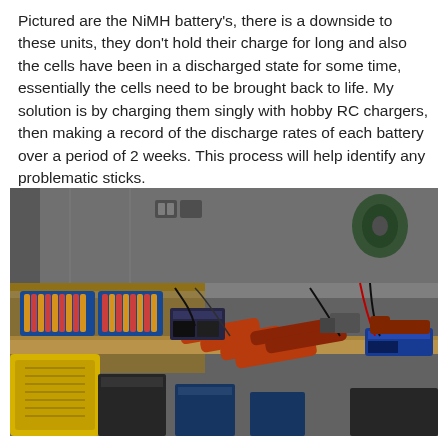Pictured are the NiMH battery's, there is a downside to these units, they don't hold their charge for long and also the cells have been in a discharged state for some time, essentially the cells need to be brought back to life. My solution is by charging them singly with hobby RC chargers, then making a record of the discharge rates of each battery over a period of 2 weeks. This process will help identify any problematic sticks.
[Figure (photo): Workshop workbench with NiMH battery sticks (orange cylindrical packs) lined up, hobby RC chargers, blue trays holding AA/sub-C cells, large lead-acid batteries on the floor, various cables, electronic equipment, and a yellow generator or power unit on the left side.]